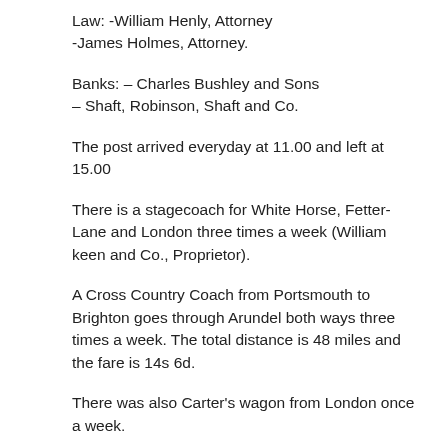Law: -William Henly, Attorney
-James Holmes, Attorney.
Banks: – Charles Bushley and Sons
– Shaft, Robinson, Shaft and Co.
The post arrived everyday at 11.00 and left at 15.00
There is a stagecoach for White Horse, Fetter-Lane and London three times a week (William keen and Co., Proprietor).
A Cross Country Coach from Portsmouth to Brighton goes through Arundel both ways three times a week. The total distance is 48 miles and the fare is 14s 6d.
There was also Carter's wagon from London once a week.